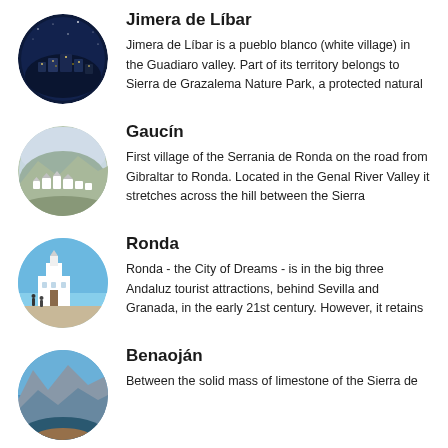[Figure (photo): Aerial view of Jimera de Líbar, a white village at night with blue tones]
Jimera de Líbar
Jimera de Líbar is a pueblo blanco (white village) in the Guadiaro valley. Part of its territory belongs to Sierra de Grazalema Nature Park, a protected natural
[Figure (photo): Aerial view of Gaucín, white village on a hillside with mountains in background]
Gaucín
First village of the Serrania de Ronda on the road from Gibraltar to Ronda. Located in the Genal River Valley it stretches across the hill between the Sierra
[Figure (photo): White church building in Ronda with blue sky and tourists in foreground]
Ronda
Ronda - the City of Dreams - is in the big three Andaluz tourist attractions, behind Sevilla and Granada, in the early 21st century. However, it retains
[Figure (photo): Limestone mountains with blue sky near Benaoján]
Benaoján
Between the solid mass of limestone of the Sierra de